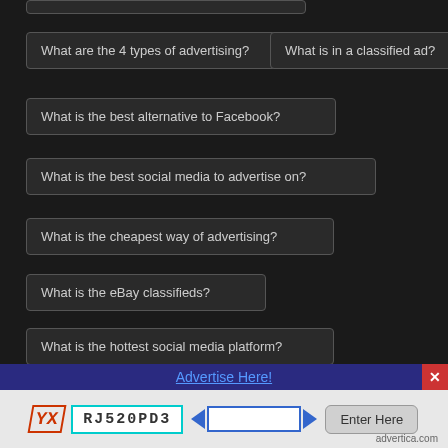What are the 4 types of advertising?
What is in a classified ad?
What is the best alternative to Facebook?
What is the best social media to advertise on?
What is the cheapest way of advertising?
What is the eBay classifieds?
What is the hottest social media platform?
What is the new cool social media?
What is Trump's new social media platform?
What kind of ads work best?
What type of ads work best?
Advertise Here!
[Figure (other): CAPTCHA image showing text 'RJ520PD3' in a cyan-bordered box, with an input field flanked by blue arrows and an Enter Here button. YX logo on left, advertica.com on right.]